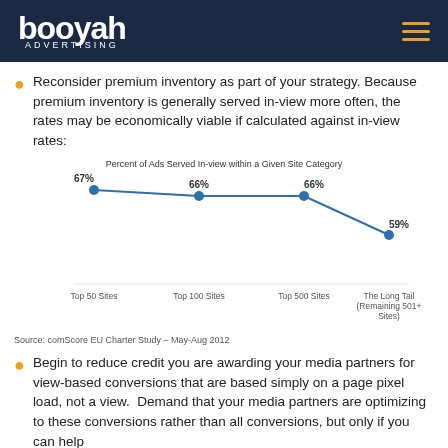booyah ADVERTISING
Reconsider premium inventory as part of your strategy. Because premium inventory is generally served in-view more often, the rates may be economically viable if calculated against in-view rates:
[Figure (line-chart): Percent of Ads Served In-view within a Given Site Category]
Source: comScore EU Charter Study – May-Aug 2012
Begin to reduce credit you are awarding your media partners for view-based conversions that are based simply on a page pixel load, not a view. Demand that your media partners are optimizing to these conversions rather than all conversions, but only if you can help